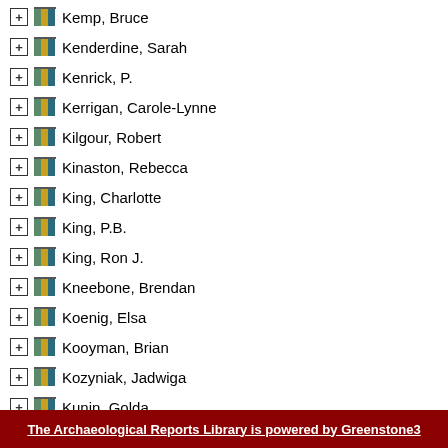Kemp, Bruce
Kenderdine, Sarah
Kenrick, P.
Kerrigan, Carole-Lynne
Kilgour, Robert
Kinaston, Rebecca
King, Charlotte
King, P.B.
King, Ron J.
Kneebone, Brendan
Koenig, Elsa
Kooyman, Brian
Kozyniak, Jadwiga
Kunin, Golda
Kupenga, Vapi
Kurmann, Sam
The Archaeological Reports Library is powered by Greenstone3